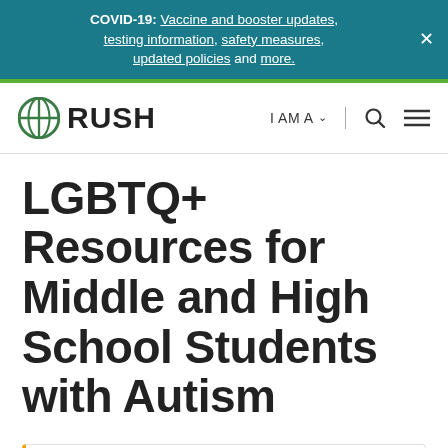COVID-19: Vaccine and booster updates, testing information, safety measures, updated policies and more.
[Figure (logo): RUSH health system logo with circular globe icon and bold RUSH text]
LGBTQ+ Resources for Middle and High School Students with Autism
Find a Doctor